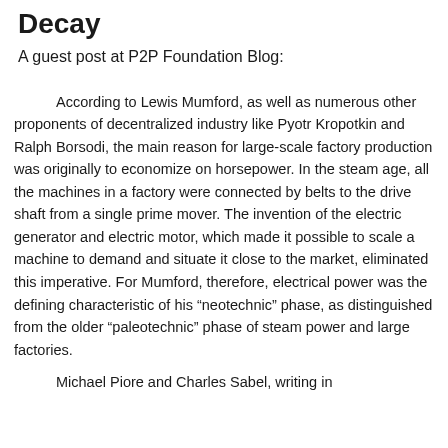Decay
A guest post at P2P Foundation Blog:
According to Lewis Mumford, as well as numerous other proponents of decentralized industry like Pyotr Kropotkin and Ralph Borsodi, the main reason for large-scale factory production was originally to economize on horsepower. In the steam age, all the machines in a factory were connected by belts to the drive shaft from a single prime mover. The invention of the electric generator and electric motor, which made it possible to scale a machine to demand and situate it close to the market, eliminated this imperative. For Mumford, therefore, electrical power was the defining characteristic of his “neotechnic” phase, as distinguished from the older “paleotechnic” phase of steam power and large factories.
Michael Piore and Charles Sabel, writing in